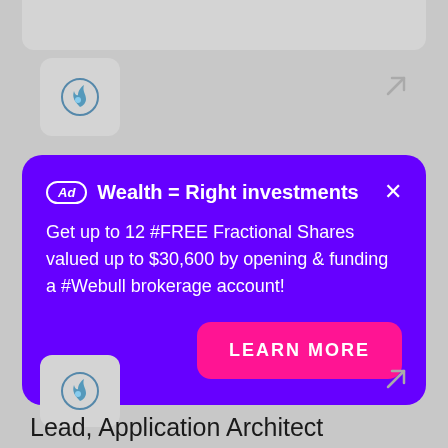[Figure (other): Gray card background at top of page with rounded bottom corners]
[Figure (logo): Flame/fire icon in a gray rounded square box]
[Figure (other): Arrow icon pointing top-right, gray color]
Ad  Wealth = Right investments  ×
Get up to 12 #FREE Fractional Shares valued up to $30,600 by opening & funding a #Webull brokerage account!
LEARN MORE
[Figure (logo): Flame/fire icon in a gray rounded square box, bottom card]
[Figure (other): Arrow icon pointing top-right, gray color, bottom card]
Lead, Application Architect